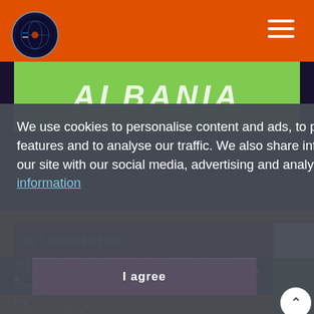ALBANIA
GET CONNECTED!
THE ULTIMATE MOBILE APP ALLOWING YOU TO RATE YOUR FAVORITE EUROVISION SONGS IN A TOTALLY NEW & CONNECTED WAY!
We use cookies to personalise content and ads, to provide social media features and to analyse our traffic. We also share information about your use of our site with our social media, advertising and analytics partners.  I want more information
I agree
my eurovision scoreboard